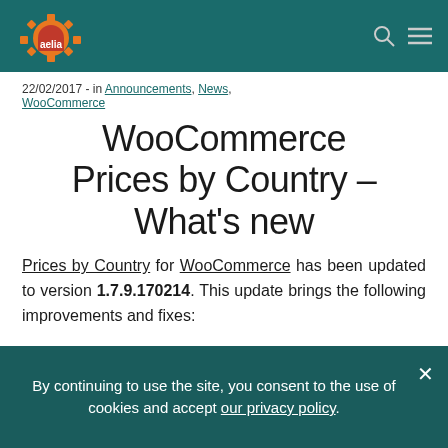aelia [logo/header bar with navigation icons]
22/02/2017 - in Announcements, News, WooCommerce
WooCommerce Prices by Country – What's new
Prices by Country for WooCommerce has been updated to version 1.7.9.170214. This update brings the following improvements and fixes:
By continuing to use the site, you consent to the use of cookies and accept our privacy policy.